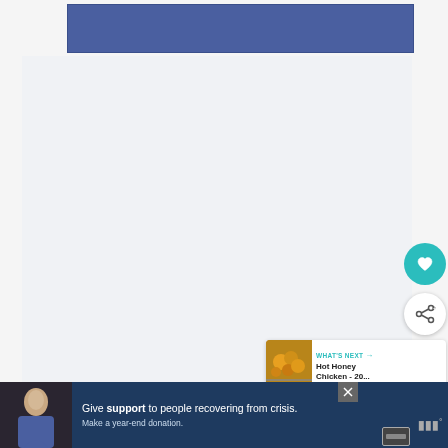[Figure (other): Blue/slate banner image or advertisement placeholder at top of page]
[Figure (other): Main content area - large light gray empty section]
[Figure (other): Teal circular heart/favorite button on right side]
[Figure (other): White circular share button on right side]
[Figure (other): What's Next card showing Hot Honey Chicken recipe thumbnail with orange citrus image]
[Figure (other): Bottom advertisement bar - dark blue with photo of person, Give support text, and WW logo]